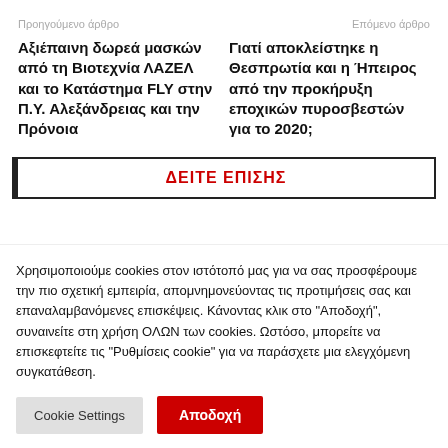Προηγούμενο άρθρο    Επόμενο άρθρο
Αξιέπαινη δωρεά μασκών από τη Βιοτεχνία ΛΑΖΕΛ και το Κατάστημα FLY στην Π.Υ. Αλεξάνδρειας και την Πρόνοια
Γιατί αποκλείστηκε η Θεσπρωτία και η Ήπειρος από την προκήρυξη εποχικών πυροσβεστών για το 2020;
ΔΕΙΤΕ ΕΠΙΣΗΣ
Χρησιμοποιούμε cookies στον ιστότοπό μας για να σας προσφέρουμε την πιο σχετική εμπειρία, απομνημονεύοντας τις προτιμήσεις σας και επαναλαμβανόμενες επισκέψεις. Κάνοντας κλικ στο "Αποδοχή", συναινείτε στη χρήση ΟΛΩΝ των cookies. Ωστόσο, μπορείτε να επισκεφτείτε τις "Ρυθμίσεις cookie" για να παράσχετε μια ελεγχόμενη συγκατάθεση.
Cookie Settings
Αποδοχή